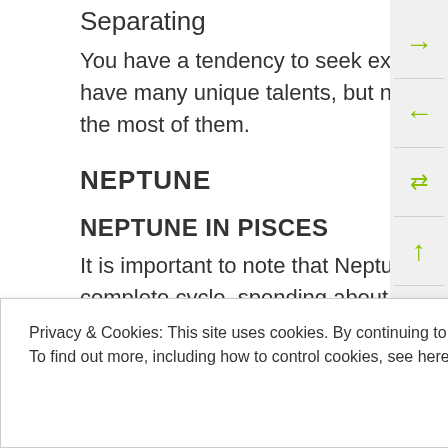Separating
You have a tendency to seek excitement and scatter your energies. You have many unique talents, but need to develop discipline in order to make the most of them.
NEPTUNE
NEPTUNE IN PISCES
It is important to note that Neptune takes about 164 years to make a complete cycle, spending about
Privacy & Cookies: This site uses cookies. By continuing to use this website, you agree to their use.
To find out more, including how to control cookies, see here: Cookie Policy
with God. They may be able to express their